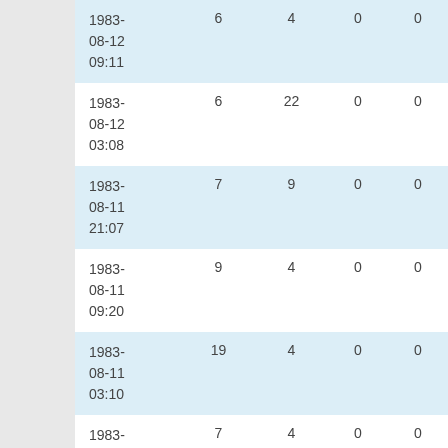| 1983-08-12 09:11 | 6 | 4 | 0 | 0 |
| 1983-08-12 03:08 | 6 | 22 | 0 | 0 |
| 1983-08-11 21:07 | 7 | 9 | 0 | 0 |
| 1983-08-11 09:20 | 9 | 4 | 0 | 0 |
| 1983-08-11 03:10 | 19 | 4 | 0 | 0 |
| 1983-08-10 21:11 | 7 | 4 | 0 | 0 |